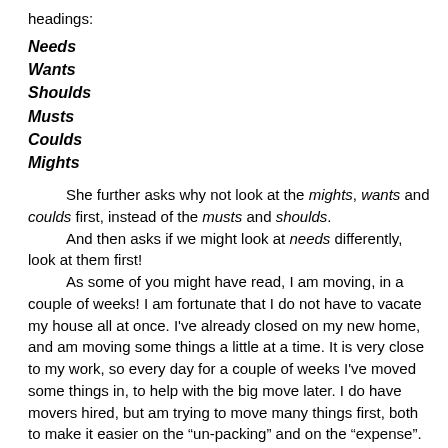headings:
Needs
Wants
Shoulds
Musts
Coulds
Mights
She further asks why not look at the mights, wants and coulds first, instead of the musts and shoulds.
And then asks if we might look at needs differently, look at them first!
As some of you might have read, I am moving, in a couple of weeks!  I am fortunate that I do not have to vacate my house all at once.  I've already closed on my new home, and am moving some things a little at a time.  It is very close to my work, so every day for a couple of weeks I've moved some things in, to help with the big move later.  I do have movers hired, but am trying to move many things first, both to make it easier on the “un-packing” and on the “expense”.